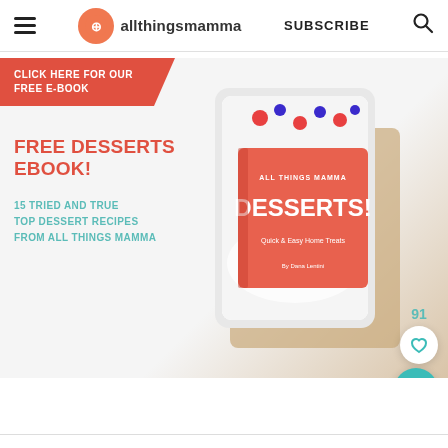allthingsmamma | SUBSCRIBE
[Figure (screenshot): Promotional banner for a free desserts ebook from allthingsmamma. Red tag reads 'CLICK HERE FOR OUR FREE E-BOOK'. Text: 'FREE DESSERTS EBOOK!' in red, '15 TRIED AND TRUE TOP DESSERT RECIPES FROM ALL THINGS MAMMA' in teal. Shows a tablet/ebook device displaying 'DESSERTS!' cover with fruits on a wooden board. Like count 91 and heart button, plus teal search FAB.]
THE LATEST!